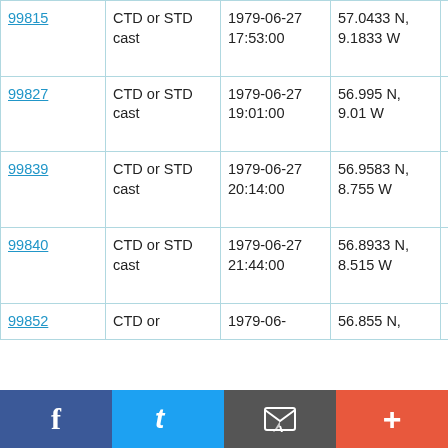| 99815 | CTD or STD cast | 1979-06-27 17:53:00 | 57.0433 N, 9.1833 W | RRS Shackleton S5/79 |
| 99827 | CTD or STD cast | 1979-06-27 19:01:00 | 56.995 N, 9.01 W | RRS Shackleton S5/79 |
| 99839 | CTD or STD cast | 1979-06-27 20:14:00 | 56.9583 N, 8.755 W | RRS Shackleton S5/79 |
| 99840 | CTD or STD cast | 1979-06-27 21:44:00 | 56.8933 N, 8.515 W | RRS Shackleton S5/79 |
| 99852 | CTD or ... | 1979-06-... | 56.855 N, ... | RRS ... |